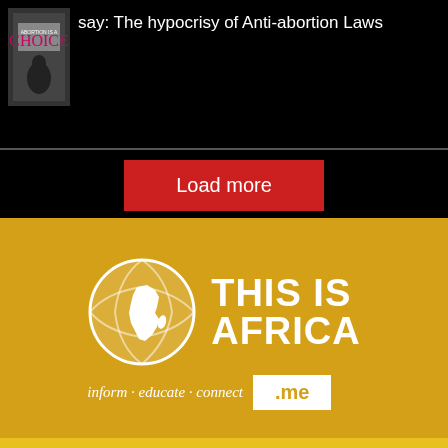[Figure (photo): Protest image showing sign reading 'Abortion is a Choice']
say: The hypocrisy of Anti-abortion Laws
Load more
[Figure (logo): This Is Africa logo: globe icon with Africa continent highlighted, text 'THIS IS AFRICA', tagline 'inform · educate · connect .me']